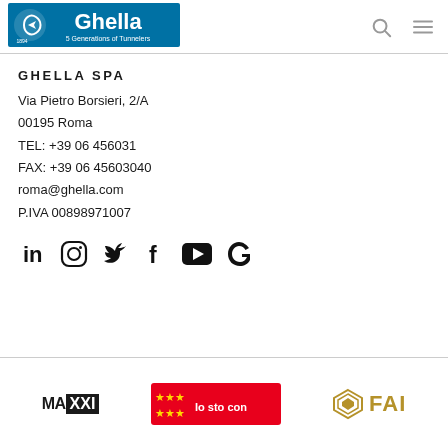[Figure (logo): Ghella logo - blue background with 'Ghella' text and '5 Generations of Tunnelers' subtitle, with a stylized arrow icon on the left]
GHELLA SPA
Via Pietro Borsieri, 2/A
00195 Roma
TEL: +39 06 456031
FAX: +39 06 45603040
roma@ghella.com
P.IVA 00898971007
[Figure (infographic): Social media icons row: LinkedIn, Instagram, Twitter/X, Facebook, YouTube, and Ghella custom icon]
[Figure (logo): Partner logos row at bottom: MAXXI museum logo, Io sto con logo, FAI logo]